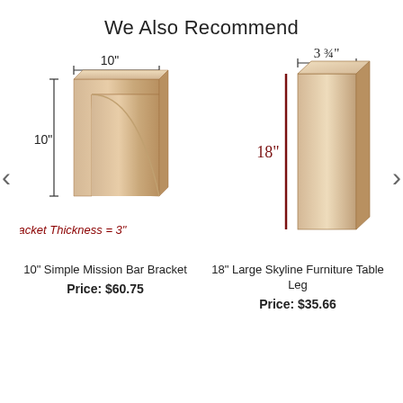We Also Recommend
[Figure (illustration): Wood bracket with dimension annotations: 10" width, 10" height, Bracket Thickness = 3". The bracket is a curved wooden corbel shape.]
10" Simple Mission Bar Bracket
Price: $60.75
[Figure (illustration): Tall rectangular wood furniture table leg with dimension annotations: 18" height, 3 3/4" width.]
18" Large Skyline Furniture Table Leg
Price: $35.66